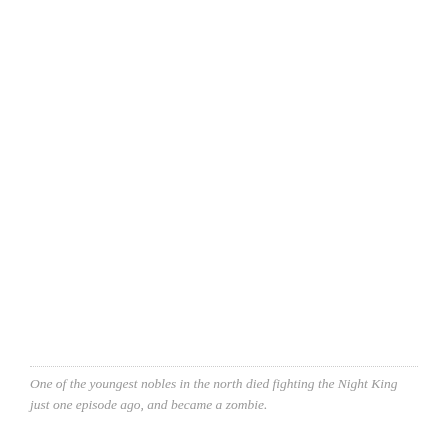One of the youngest nobles in the north died fighting the Night King just one episode ago, and became a zombie.